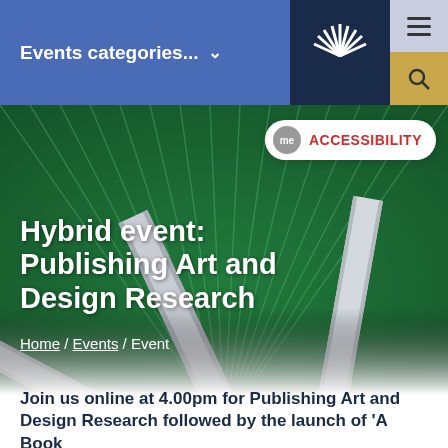Events categories... ∨
[Figure (screenshot): University website header with blue navigation bar showing 'Events categories...' dropdown, dark navy logo area with white starburst/agave logo, light grey hamburger menu icon, and gold/tan search icon area.]
[Figure (photo): Green and grey radiating book spines arranged in a fan pattern. Visible names on spines: Theo Harper, Helen McGhie, Ben Evans, Georgia Smithson. Background has green radial lines emanating from center.]
[Figure (logo): me ACCESSIBILITY badge - white rounded rectangle with grey circular 'me' chat bubble icon and red bold 'ACCESSIBILITY' text]
Hybrid event: Publishing Art and Design Research
Home / Events / Event
Join us online at 4.00pm for Publishing Art and Design Research followed by the launch of 'A Book